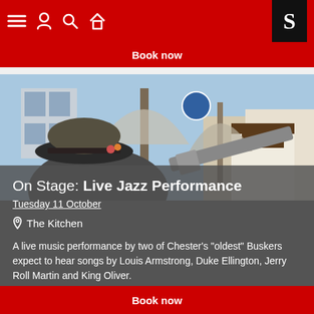Navigation bar with menu, user, search, home icons and S logo
Book now
[Figure (photo): Outdoor street scene showing a person wearing a straw hat in the foreground, bare winter trees, buildings including a Tudor-style house in the background, blue sky]
On Stage: Live Jazz Performance
Tuesday 11 October
The Kitchen
A live music performance by two of Chester's “oldest” Buskers expect to hear songs by Louis Armstrong, Duke Ellington, Jerry Roll Martin and King Oliver.
Book now